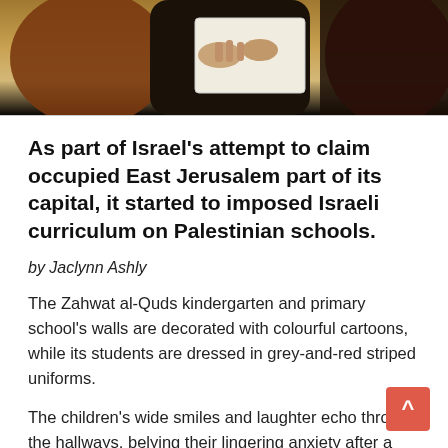[Figure (photo): Top portion of a photograph showing a person from the torso down, appears to be holding or writing on paper, dressed in dark clothing, against a brown/tan background.]
As part of Israel’s attempt to claim occupied East Jerusalem part of its capital, it started to imposed Israeli curriculum on Palestinian schools.
by Jaclynn Ashly
The Zahwat al-Quds kindergarten and primary school’s walls are decorated with colourful cartoons, while its students are dressed in grey-and-red striped uniforms.
The children’s wide smiles and laughter echo through the hallways, belying their lingering anxiety after a recent Israeli raid on the school.